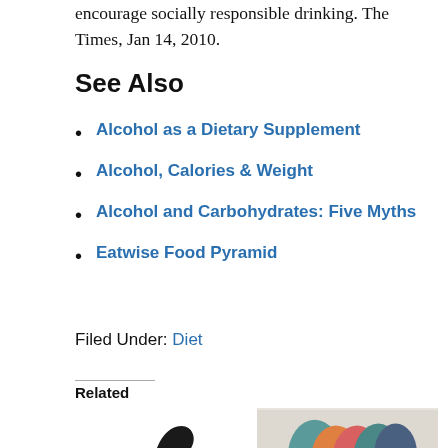encourage socially responsible drinking. The Times, Jan 14, 2010.
See Also
Alcohol as a Dietary Supplement
Alcohol, Calories & Weight
Alcohol and Carbohydrates: Five Myths
Eatwise Food Pyramid
Filed Under: Diet
Related
[Figure (photo): Thumbs up silhouette icon in black]
[Figure (illustration): Colorful overlapping face profile illustrations in teal, orange, pink and blue]